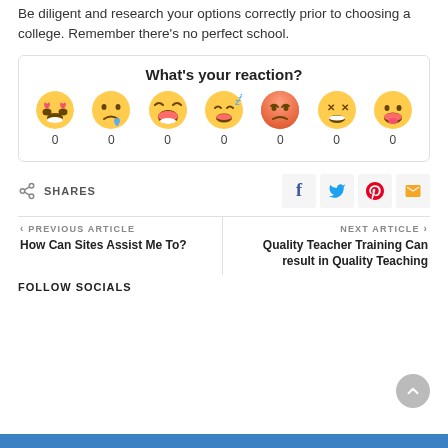Be diligent and research your options correctly prior to choosing a college. Remember there's no perfect school.
[Figure (infographic): What's your reaction? widget with 7 emoji faces (love, sad, laughing, sleepy, angry, disgusted, silly) each showing a count of 0]
SHARES
[Figure (infographic): Social share buttons: Facebook (f), Twitter bird, Pinterest (P), Email (envelope)]
PREVIOUS ARTICLE
How Can Sites Assist Me To?
NEXT ARTICLE
Quality Teacher Training Can result in Quality Teaching
FOLLOW SOCIALS